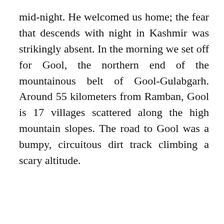mid-night. He welcomed us home; the fear that descends with night in Kashmir was strikingly absent. In the morning we set off for Gool, the northern end of the mountainous belt of Gool-Gulabgarh. Around 55 kilometers from Ramban, Gool is 17 villages scattered along the high mountain slopes. The road to Gool was a bumpy, circuitous dirt track climbing a scary altitude.